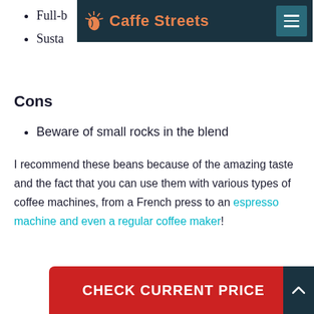Full-b...
Susta...
[Figure (logo): Caffe Streets logo with coffee bean icon on dark teal background with hamburger menu button]
Cons
Beware of small rocks in the blend
I recommend these beans because of the amazing taste and the fact that you can use them with various types of coffee machines, from a French press to an espresso machine and even a regular coffee maker!
CHECK CURRENT PRICE